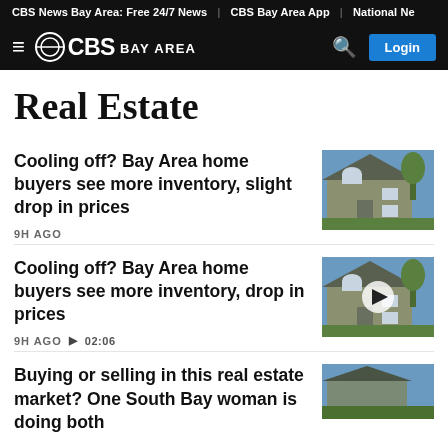CBS News Bay Area: Free 24/7 News | CBS Bay Area App | National Ne
CBS BAY AREA — Login
Real Estate
Cooling off? Bay Area home buyers see more inventory, slight drop in prices
9H AGO
[Figure (photo): A large suburban house with gray siding, arched windows, and landscaping]
Cooling off? Bay Area home buyers see more inventory, drop in prices
9H AGO ▶ 02:06
[Figure (photo): Same house image with a video play button overlay, duration 02:06]
Buying or selling in this real estate market? One South Bay woman is doing both